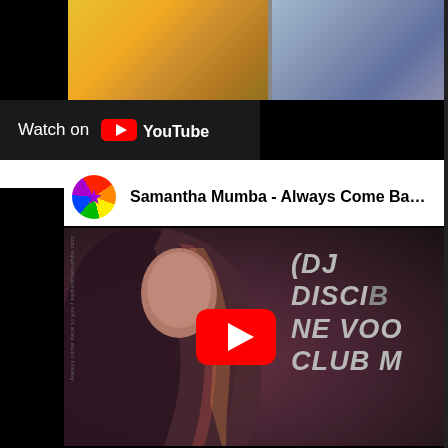[Figure (screenshot): Top portion showing album art thumbnails — yellow/gold and blue colored covers on black background]
[Figure (screenshot): Watch on YouTube button/bar with YouTube logo]
Samantha Mumba - Always Come Back ...
[Figure (screenshot): YouTube video thumbnail for Samantha Mumba - Always Come Back, showing a woman with long dark hair with highlights, and text overlay '(DJ DISCIPLINE NE VOO... CLUB M...' with red YouTube play button in center]